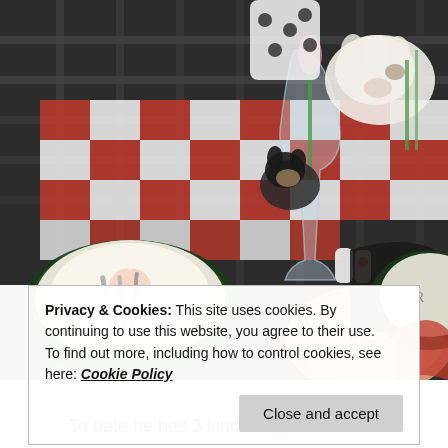[Figure (photo): Overhead/angled photo of an outdoor patio table set with red and white checkered tablecloth, plates stacked (top plate showing a cat design), silverware, a glass goblet with green tulip stem, salt and pepper shakers, a pink 'Painted' branded plate, animal figurines including a pig and small black dog, and black napkins. Dark metal lattice table surface visible.]
Privacy & Cookies: This site uses cookies. By continuing to use this website, you agree to their use.
To find out more, including how to control cookies, see here: Cookie Policy
Close and accept
To date he has 3 kinds of grills and a...